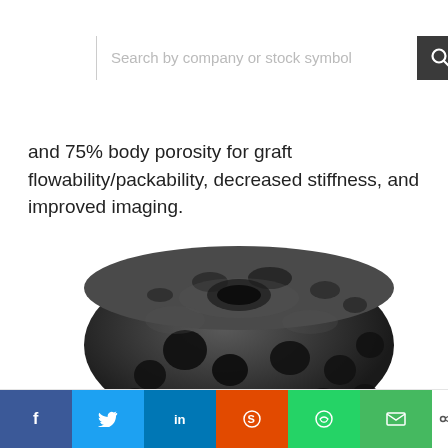[Figure (screenshot): Search bar with placeholder text 'Search by company or stock symbol' and a dark search icon button on the right]
and 75% body porosity for graft flowability/packability, decreased stiffness, and improved imaging.
[Figure (photo): 3D-printed porous spinal implant or bone graft device with trabecular-like structure, shown in dark gray/black material with multiple openings and holes throughout the body]
[Figure (infographic): Social sharing bar with Facebook, Twitter, LinkedIn, Reddit, WhatsApp, Email buttons, and a share count showing 0 SHARES]